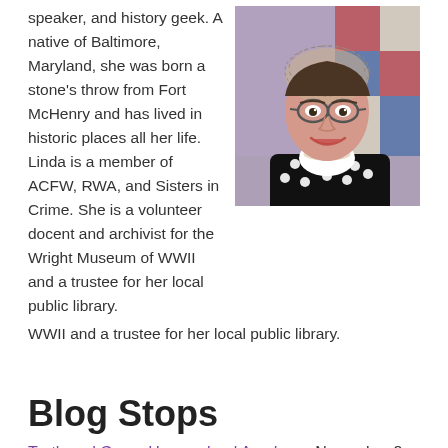speaker, and history geek. A native of Baltimore, Maryland, she was born a stone's throw from Fort McHenry and has lived in historic places all her life. Linda is a member of ACFW, RWA, and Sisters in Crime. She is a volunteer docent and archivist for the Wright Museum of WWII and a trustee for her local public library.
[Figure (photo): Portrait photo of a smiling woman with glasses, wearing a black and white polka dot dress with a white collar and pearl necklace, with a lace hair covering, in front of a colorful quilt background.]
Blog Stops
Truth and Grace Homeschool Academy, November 8